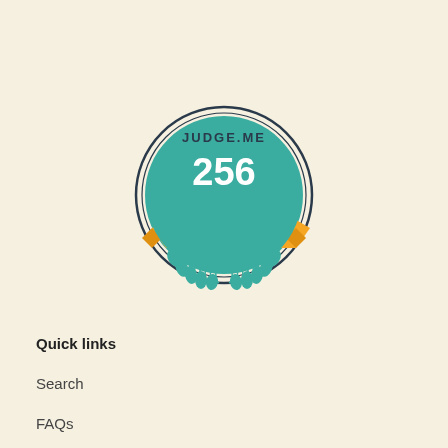[Figure (logo): Judge.me badge showing 256 five-star verified reviews, circular teal badge with laurel wreath and orange banner reading 'Verified Reviews']
Quick links
Search
FAQs